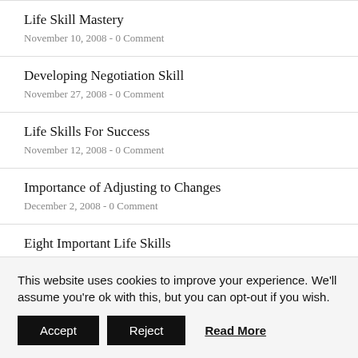Life Skill Mastery
November 10, 2008 - 0 Comment
Developing Negotiation Skill
November 27, 2008 - 0 Comment
Life Skills For Success
November 12, 2008 - 0 Comment
Importance of Adjusting to Changes
December 2, 2008 - 0 Comment
Eight Important Life Skills
November 12, 2008 - 0 Comment
This website uses cookies to improve your experience. We'll assume you're ok with this, but you can opt-out if you wish.